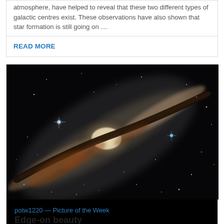atmosphere, have helped to reveal that these two different types of galactic centres exist. These observations have also shown that star formation is still going on …
READ MORE
[Figure (photo): Edge-on spiral galaxy photographed against a dark background, showing a prominent central bulge and dust lane running diagonally across the image, with scattered stars visible.]
potw1220 — Picture of the Week
Edge-on beauty